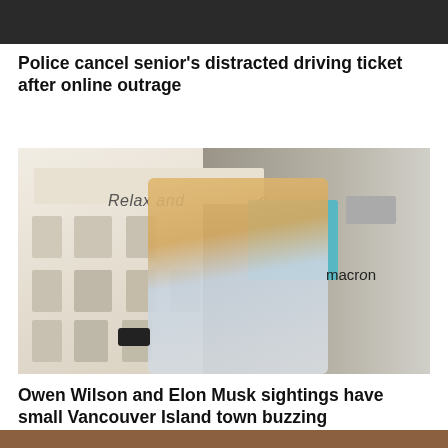[Figure (photo): Partial top image, cropped, showing dark fabric/clothing background]
Police cancel senior's distracted driving ticket after online outrage
[Figure (photo): Two people standing in front of a display wall showing various smart home devices. The person on the left has light blond hair and is looking at a phone. The person on the right is wearing a Macron sport shirt and carrying a yellow and black backpack. A sign on the wall reads 'Relax and...']
Owen Wilson and Elon Musk sightings have small Vancouver Island town buzzing
[Figure (photo): Partial bottom image, cropped, showing a warm-toned background]